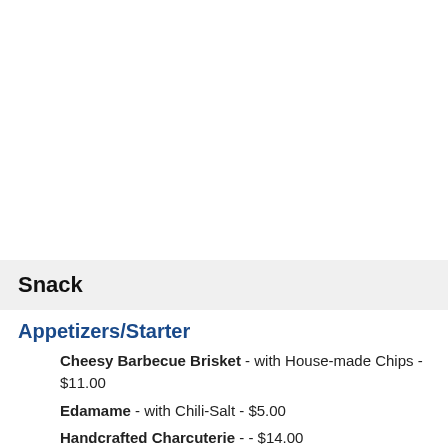Snack
Appetizers/Starter
Cheesy Barbecue Brisket - with House-made Chips - $11.00
Edamame - with Chili-Salt - $5.00
Handcrafted Charcuterie - - $14.00